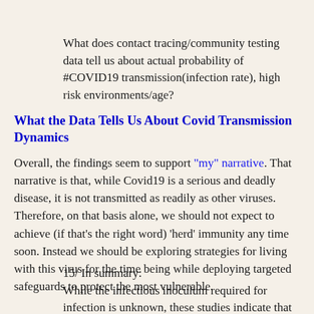What does contact tracing/community testing data tell us about actual probability of #COVID19 transmission(infection rate), high risk environments/age?
What the Data Tells Us About Covid Transmission Dynamics
Overall, the findings seem to support "my" narrative. That narrative is that, while Covid19 is a serious and deadly disease, it is not transmitted as readily as other viruses. Therefore, on that basis alone, we should not expect to achieve (if that's the right word) 'herd' immunity any time soon. Instead we should be exploring strategies for living with this virus for the time being while deploying targeted safeguards to protect the most vulnerable.
15/ In summary:
While the infectious inoculum required for infection is unknown, these studies indicate that close &